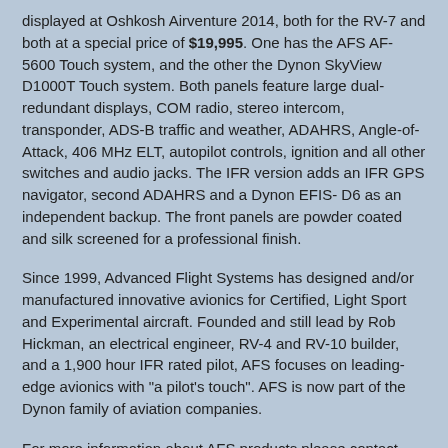displayed at Oshkosh Airventure 2014, both for the RV-7 and both at a special price of $19,995. One has the AFS AF-5600 Touch system, and the other the Dynon SkyView D1000T Touch system. Both panels feature large dual-redundant displays, COM radio, stereo intercom, transponder, ADS-B traffic and weather, ADAHRS, Angle-of-Attack, 406 MHz ELT, autopilot controls, ignition and all other switches and audio jacks. The IFR version adds an IFR GPS navigator, second ADAHRS and a Dynon EFIS-D6 as an independent backup. The front panels are powder coated and silk screened for a professional finish.
Since 1999, Advanced Flight Systems has designed and/or manufactured innovative avionics for Certified, Light Sport and Experimental aircraft. Founded and still lead by Rob Hickman, an electrical engineer, RV-4 and RV-10 builder, and a 1,900 hour IFR rated pilot, AFS focuses on leading-edge avionics with "a pilot's touch". AFS is now part of the Dynon family of aviation companies.
For more information about AFS products please contact AFS at 503-263-0037, email to info@advanced-flight-systems.com.
at 7/24/2014